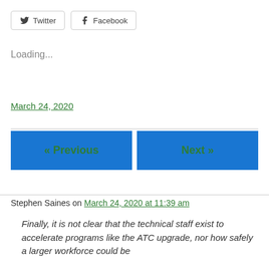Twitter  Facebook
Loading...
March 24, 2020
« Previous
Next »
Stephen Saines on March 24, 2020 at 11:39 am
Finally, it is not clear that the technical staff exist to accelerate programs like the ATC upgrade, nor how safely a larger workforce could be